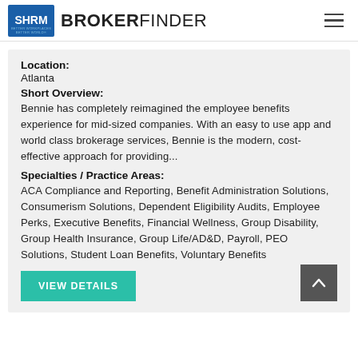SHRM BROKERFINDER
Location:
Atlanta
Short Overview:
Bennie has completely reimagined the employee benefits experience for mid-sized companies. With an easy to use app and world class brokerage services, Bennie is the modern, cost-effective approach for providing...
Specialties / Practice Areas:
ACA Compliance and Reporting, Benefit Administration Solutions, Consumerism Solutions, Dependent Eligibility Audits, Employee Perks, Executive Benefits, Financial Wellness, Group Disability, Group Health Insurance, Group Life/AD&D, Payroll, PEO Solutions, Student Loan Benefits, Voluntary Benefits